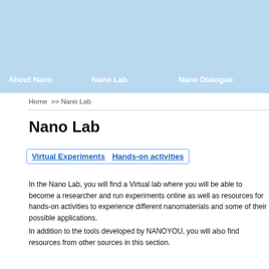About Nano   Nano Lab   Nano Dialogue
Home >> Nano Lab
Nano Lab
Virtual Experiments   Hands-on activities
In the Nano Lab, you will find a Virtual lab where you will be able to become a researcher and run experiments online as well as resources for hands-on activities to experience different nanomaterials and some of their possible applications.
In addition to the tools developed by NANOYOU, you will also find resources from other sources in this section.